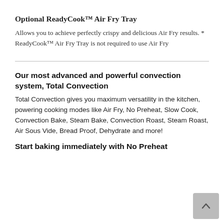Optional ReadyCook™ Air Fry Tray
Allows you to achieve perfectly crispy and delicious Air Fry results. * ReadyCook™ Air Fry Tray is not required to use Air Fry
Our most advanced and powerful convection system, Total Convection
Total Convection gives you maximum versatility in the kitchen, powering cooking modes like Air Fry, No Preheat, Slow Cook, Convection Bake, Steam Bake, Convection Roast, Steam Roast, Air Sous Vide, Bread Proof, Dehydrate and more!
Start baking immediately with No Preheat